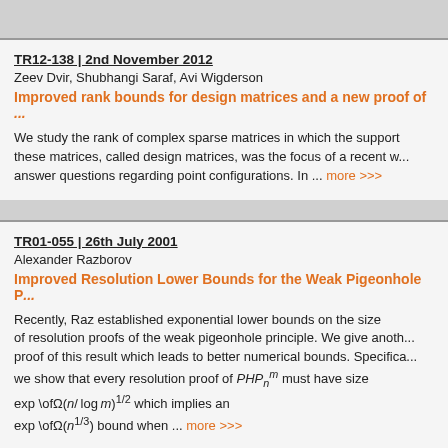TR12-138 | 2nd November 2012
Zeev Dvir, Shubhangi Saraf, Avi Wigderson
Improved rank bounds for design matrices and a new proof of ...
We study the rank of complex sparse matrices in which the support ... these matrices, called design matrices, was the focus of a recent w... answer questions regarding point configurations. In ... more >>>
TR01-055 | 26th July 2001
Alexander Razborov
Improved Resolution Lower Bounds for the Weak Pigeonhole P...
Recently, Raz established exponential lower bounds on the size of resolution proofs of the weak pigeonhole principle. We give another proof of this result which leads to better numerical bounds. Specifically, we show that every resolution proof of PHP_n^m must have size exp\ofΩ(n/log m)^{1/2} which implies an exp\ofΩ(n^{1/3}) bound when ... more >>>